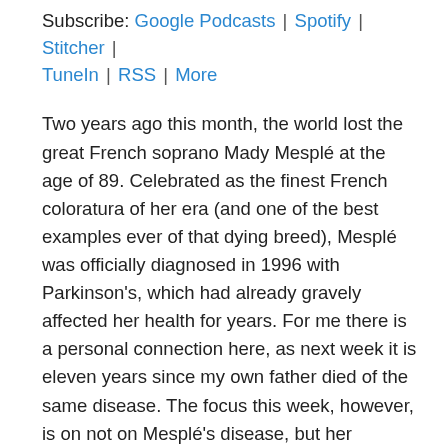Subscribe: Google Podcasts | Spotify | Stitcher | TuneIn | RSS | More
Two years ago this month, the world lost the great French soprano Mady Mesplé at the age of 89. Celebrated as the finest French coloratura of her era (and one of the best examples ever of that dying breed), Mesplé was officially diagnosed in 1996 with Parkinson's, which had already gravely affected her health for years. For me there is a personal connection here, as next week it is eleven years since my own father died of the same disease. The focus this week, however, is on not on Mesplé's disease, but her extraordinary vocalism, musicianship, and versatility. Not only was she unmatched in the operatic repertoire for which she was justly celebrated, she was also a mistress of the mélodie, a charming interpreter of French operetta, and a fearless interpreter of contemporary